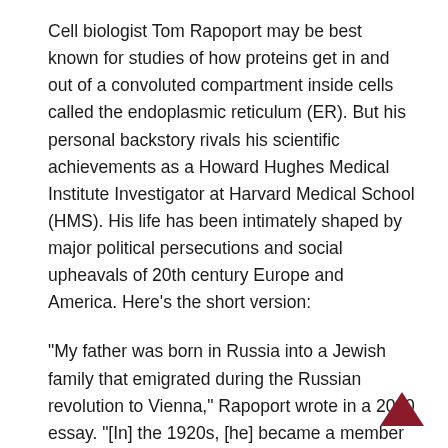Cell biologist Tom Rapoport may be best known for studies of how proteins get in and out of a convoluted compartment inside cells called the endoplasmic reticulum (ER). But his personal backstory rivals his scientific achievements as a Howard Hughes Medical Institute Investigator at Harvard Medical School (HMS). His life has been intimately shaped by major political persecutions and social upheavals of 20th century Europe and America. Here’s the short version:
“My father was born in Russia into a Jewish family that emigrated during the Russian revolution to Vienna,” Rapoport wrote in a 2010 essay. “[In] the 1920s, [he] became a member of the Socialist party and later of the Communist party. He studied medicine and chemistry. While he was on a fellowship in Cincinnati, Ohio, the